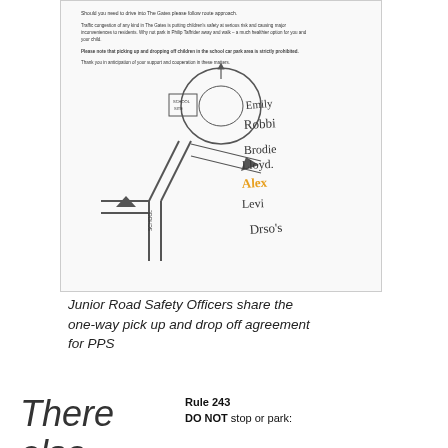[Figure (other): A scanned document page showing a road map/diagram of a school one-way pick up and drop off route, with handwritten signatures of Junior Road Safety Officers (Emily, Robbi, Brodie, Lloyd, Alex in orange, Levi, Drso's). The document contains printed text about traffic safety and parking rules.]
Junior Road Safety Officers share the one-way pick up and drop off agreement for PPS
There also
Rule 243
DO NOT stop or park: